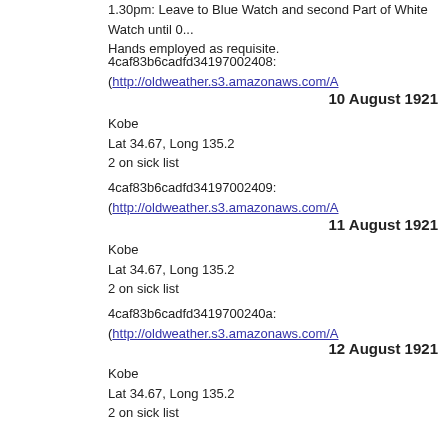1.30pm: Leave to Blue Watch and second Part of White Watch until 0... Hands employed as requisite.
4caf83b6cadfd34197002408: (http://oldweather.s3.amazonaws.com/A
10 August 1921
Kobe
Lat 34.67, Long 135.2
2 on sick list
4caf83b6cadfd34197002409: (http://oldweather.s3.amazonaws.com/A
11 August 1921
Kobe
Lat 34.67, Long 135.2
2 on sick list
4caf83b6cadfd3419700240a: (http://oldweather.s3.amazonaws.com/A
12 August 1921
Kobe
Lat 34.67, Long 135.2
2 on sick list
4caf83b6cadfd3419700240b: (http://oldweather.s3.amazonaws.com/A
13 August 1921
Kobe
Lat 34.67, Long 135.2
1 on sick list